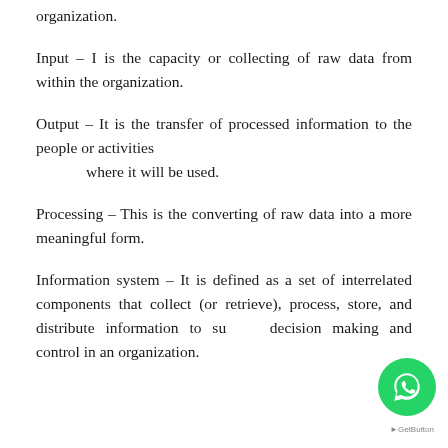organization.
Input – I is the capacity or collecting of raw data from within the organization.
Output – It is the transfer of processed information to the people or activities
    where it will be used.
Processing – This is the converting of raw data into a more meaningful form.
Information system – It is defined as a set of interrelated components that collect (or retrieve), process, store, and distribute information to support decision making and control in an organization.